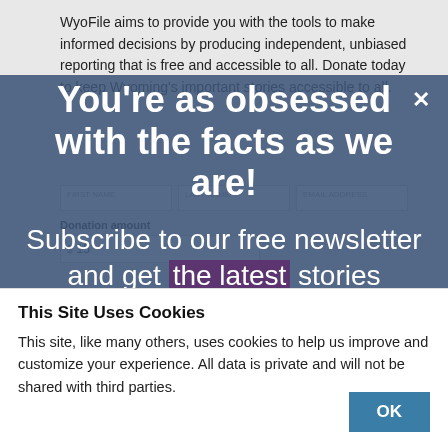WyoFile aims to provide you with the tools to make informed decisions by producing independent, unbiased reporting that is free and accessible to all. Donate today to keep Wyoming's important stories accessible to all.
[Figure (screenshot): Popup modal overlay with dark blue semi-transparent background containing bold white headline text 'You're as obsessed with the facts as we are!' and subscription prompt 'Subscribe to our free newsletter and get the latest stories straight to your' with 'the latest' highlighted in purple. A close (X) button is in the top right of the modal. Behind the modal is a donation form with fields and a donation amount input showing $15.]
This Site Uses Cookies
This site, like many others, uses cookies to help us improve and customize your experience. All data is private and will not be shared with third parties.